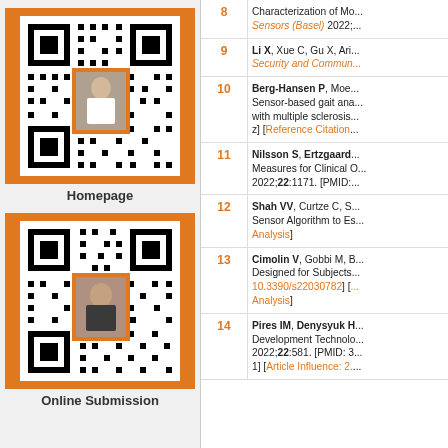[Figure (other): QR code with person photo overlay and orange frame for Homepage]
Homepage
[Figure (other): QR code with person photo overlay and orange frame for Online Submission]
Online Submission
| # | Reference |
| --- | --- |
| 8 | Characterization of Mo... Sensors (Basel) 2022;... |
| 9 | Li X, Xue C, Gu X, Ari... Security and Commun... |
| 10 | Berg-Hansen P, Moe... Sensor-based gait ana... with multiple sclerosis... z] [Reference Citation... |
| 11 | Nilsson S, Ertzgaard... Measures for Clinical O... 2022;22:1171. [PMID:... |
| 12 | Shah VV, Curtze C, S... Sensor Algorithm to Es... Analysis] |
| 13 | Cimolin V, Gobbi M, B... Designed for Subjects ... 10.3390/s22030782] [... Analysis] |
| 14 | Pires IM, Denysyuk H... Development Technolo... 2022;22:581. [PMID: 3... 1] [Article Influence: 2.... |